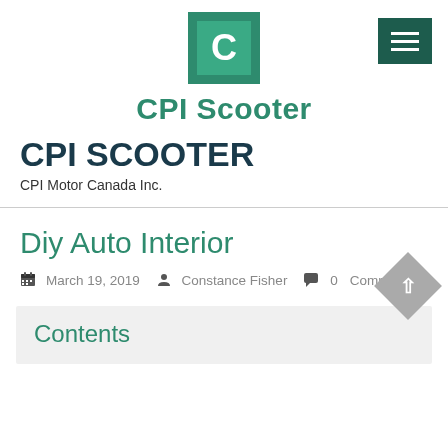[Figure (logo): CPI Scooter logo: dark green square with lighter green inner square containing white letter C]
CPI Scooter
CPI SCOOTER
CPI Motor Canada Inc.
Diy Auto Interior
March 19, 2019  Constance Fisher  0 Comments
Contents